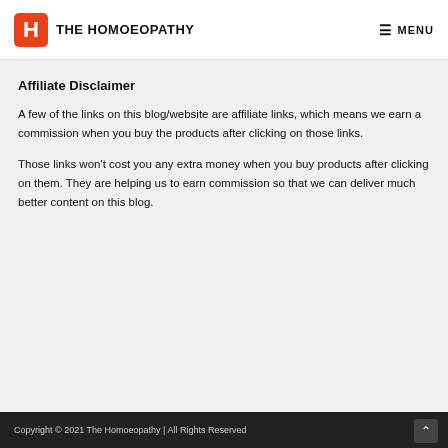THE HOMOEOPATHY  MENU
Affiliate Disclaimer
A few of the links on this blog/website are affiliate links, which means we earn a commission when you buy the products after clicking on those links.
Those links won't cost you any extra money when you buy products after clicking on them. They are helping us to earn commission so that we can deliver much better content on this blog.
Copyright © 2021 The Homoeopathy | All Rights Reserved